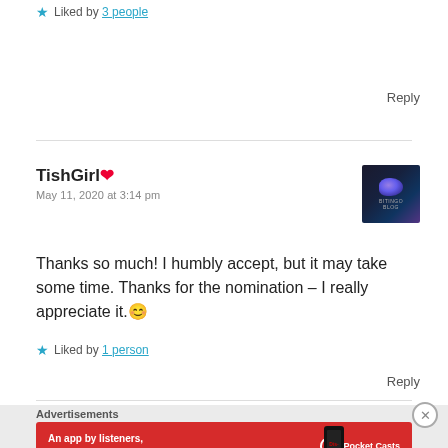★ Liked by 3 people
Reply
TishGirl ❤
May 11, 2020 at 3:14 pm
[Figure (photo): Avatar image: dark background with purple/blue blob shape, small text 'BITINGO BLOG']
Thanks so much! I humbly accept, but it may take some time. Thanks for the nomination – I really appreciate it. 😊
★ Liked by 1 person
Reply
Advertisements
[Figure (infographic): Pocket Casts advertisement banner: red background, white text 'An app by listeners, for listeners.' with Pocket Casts logo and phone image]